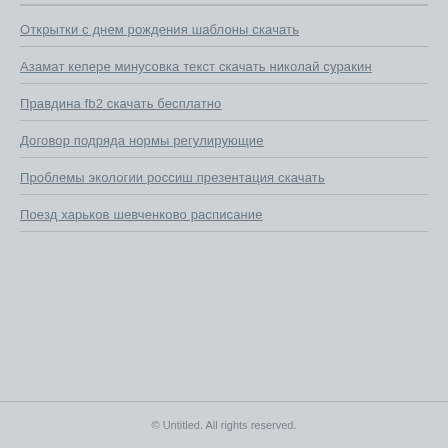Открытки с днем рождения шаблоны скачать
Азамат кепере минусовка текст скачать николай суракин
Правдина fb2 скачать бесплатно
Договор подряда нормы регулирующие
Проблемы экологии россиш презентация скачать
Поезд харьков шевченково расписание
© Untitled. All rights reserved.